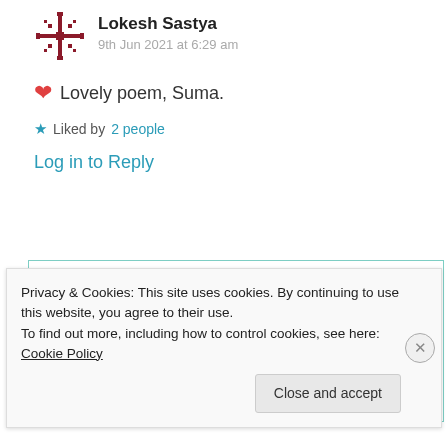Lokesh Sastya
9th Jun 2021 at 6:29 am
❤ Lovely poem, Suma.
★ Liked by 2 people
Log in to Reply
Suma Reddy
Privacy & Cookies: This site uses cookies. By continuing to use this website, you agree to their use.
To find out more, including how to control cookies, see here: Cookie Policy
Close and accept